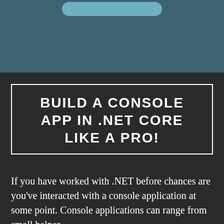[Figure (illustration): Teal/blue-grey background section at top with a rounded light blue bar near the top center, resembling a phone or device UI element]
BUILD A CONSOLE APP IN .NET CORE LIKE A PRO!
If you have worked with .NET before chances are you've interacted with a console application at some point. Console applications can range from small helper